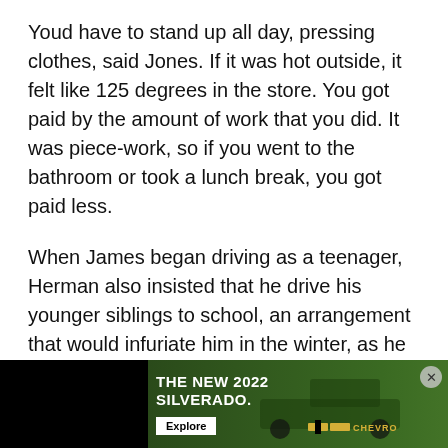Youd have to stand up all day, pressing clothes, said Jones. If it was hot outside, it felt like 125 degrees in the store. You got paid by the amount of work that you did. It was piece-work, so if you went to the bathroom or took a lunch break, you got paid less.
When James began driving as a teenager, Herman also insisted that he drive his younger siblings to school, an arrangement that would infuriate him in the winter, as he shoveled snow away from his 1972 Duster while brothers Joe and John stood in the doorway and watched.
Despite his love of basketball, the game didnt hold any immediate lure for Jones after he completed his four-year playing career at the State University of New York at Albany.
He cha... rk ethic, i...
[Figure (screenshot): Advertisement banner for The New 2022 Silverado by Chevrolet, showing truck image on dark green background with Explore button]